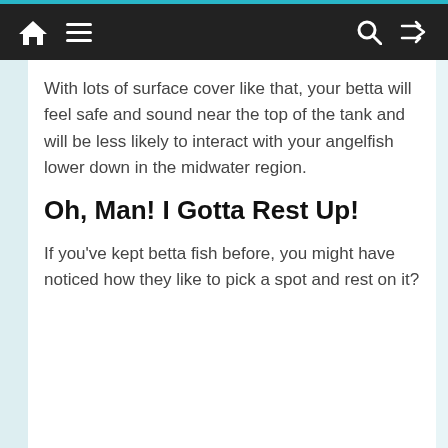Navigation bar with home, menu, search, and shuffle icons
With lots of surface cover like that, your betta will feel safe and sound near the top of the tank and will be less likely to interact with your angelfish lower down in the midwater region.
Oh, Man! I Gotta Rest Up!
If you've kept betta fish before, you might have noticed how they like to pick a spot and rest on it?